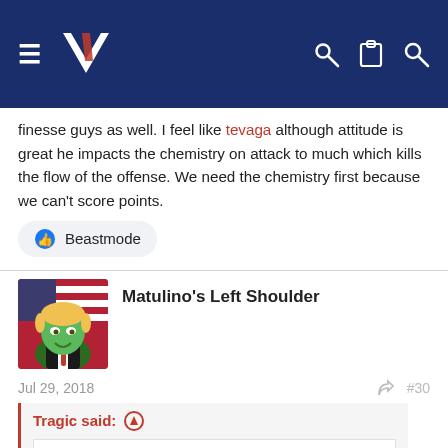NZ Warriors forum header with logo and navigation icons
finesse guys as well. I feel like tevaga although attitude is great he impacts the chemistry on attack to much which kills the flow of the offense. We need the chemistry first because we can't score points.
Beastmode
Matulino's Left Shoulder
Jul 29, 2018
#30
Tragic said:
konnie t have a blinder (his only one of the year) an blow 3 kisses to his mum and steal it from us at the death. Sad I know but we all know ex warriors lift for us and I am still mentally